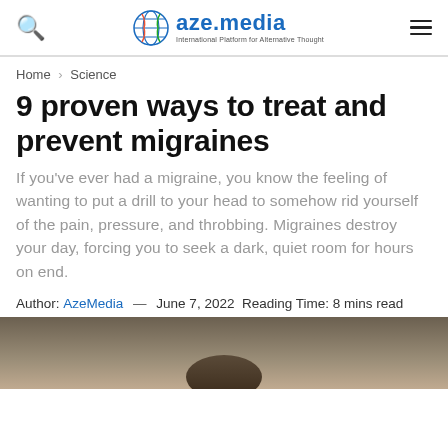aze.media — International Platform for Alternative Thought
Home > Science
9 proven ways to treat and prevent migraines
If you've ever had a migraine, you know the feeling of wanting to put a drill to your head to somehow rid yourself of the pain, pressure, and throbbing. Migraines destroy your day, forcing you to seek a dark, quiet room for hours on end.
Author: AzeMedia — June 7, 2022  Reading Time: 8 mins read
[Figure (photo): Portrait photo of a person (head and shoulders), partial view cropped at bottom of page]